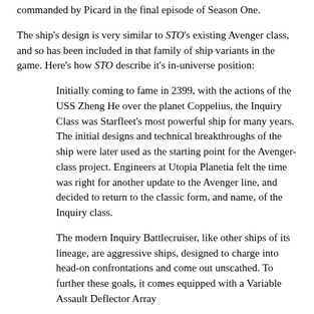commanded by Picard in the final episode of Season One.
The ship's design is very similar to STO's existing Avenger class, and so has been included in that family of ship variants in the game. Here's how STO describe it's in-universe position:
Initially coming to fame in 2399, with the actions of the USS Zheng He over the planet Coppelius, the Inquiry Class was Starfleet's most powerful ship for many years. The initial designs and technical breakthroughs of the ship were later used as the starting point for the Avenger-class project. Engineers at Utopia Planetia felt the time was right for another update to the Avenger line, and decided to return to the classic form, and name, of the Inquiry class.
The modern Inquiry Battlecruiser, like other ships of its lineage, are aggressive ships, designed to charge into head-on confrontations and come out unscathed. To further these goals, it comes equipped with a Variable Assault Deflector Array